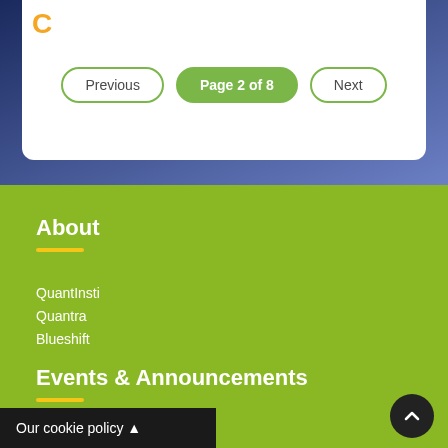Page 2 of 8
About
QuantInsti
Quantra
Blueshift
Events & Announcements
Our cookie policy ▲